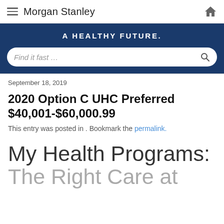Morgan Stanley
A HEALTHY FUTURE.
September 18, 2019
2020 Option C UHC Preferred $40,001-$60,000.99
This entry was posted in . Bookmark the permalink.
My Health Programs: The Right Care at